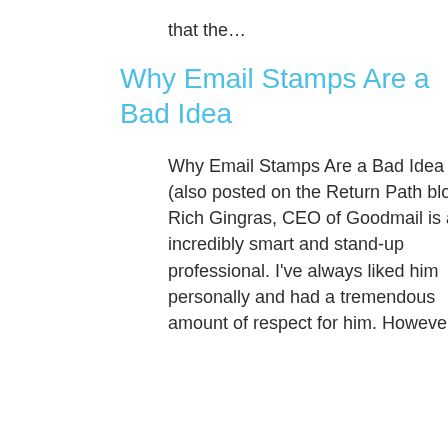that the…
Why Email Stamps Are a Bad Idea
Why Email Stamps Are a Bad Idea (also posted on the Return Path blog) Rich Gingras, CEO of Goodmail is an incredibly smart and stand-up professional.  I've always liked him personally and had a tremendous amount of respect for him.  However,